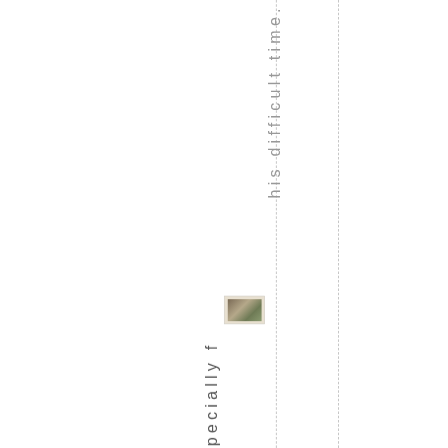his difficult time.
[Figure (photo): Small thumbnail photograph, landscape scene]
I'm especially f